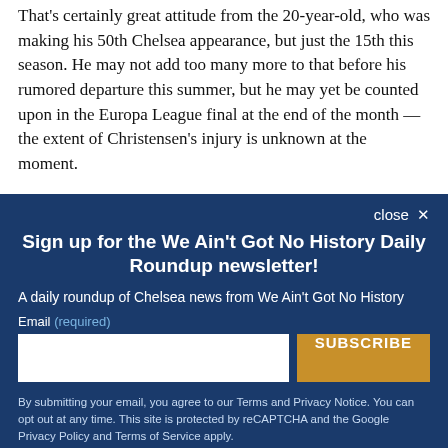That's certainly great attitude from the 20-year-old, who was making his 50th Chelsea appearance, but just the 15th this season. He may not add too many more to that before his rumored departure this summer, but he may yet be counted upon in the Europa League final at the end of the month — the extent of Christensen's injury is unknown at the moment.
close ✕
Sign up for the We Ain't Got No History Daily Roundup newsletter!
A daily roundup of Chelsea news from We Ain't Got No History
Email (required)
SUBSCRIBE
By submitting your email, you agree to our Terms and Privacy Notice. You can opt out at any time. This site is protected by reCAPTCHA and the Google Privacy Policy and Terms of Service apply.